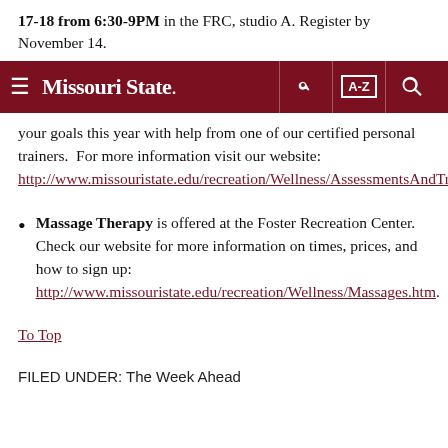17-18 from 6:30-9PM in the FRC, studio A. Register by November 14.
[Figure (screenshot): Missouri State University navigation bar with hamburger menu, logo, key icon, A-Z index, and search icon on dark red background]
your goals this year with help from one of our certified personal trainers.  For more information visit our website: http://www.missouristate.edu/recreation/Wellness/AssessmentsAndTraining.htm
Massage Therapy is offered at the Foster Recreation Center.  Check our website for more information on times, prices, and how to sign up: http://www.missouristate.edu/recreation/Wellness/Massages.htm.
To Top
FILED UNDER: The Week Ahead